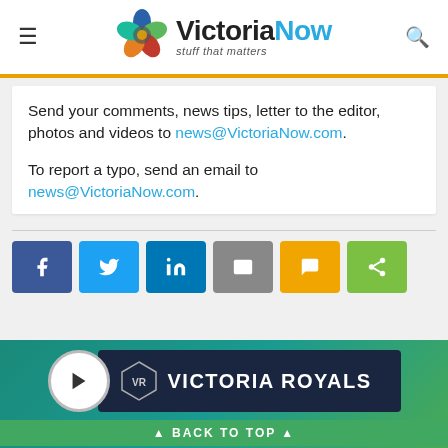VictoriaNow — stuff that matters
Send your comments, news tips, letter to the editor, photos and videos to news@VictoriaNow.com.
To report a typo, send an email to news@VictoriaNow.com.
[Figure (infographic): Social sharing buttons: Facebook, Twitter, LinkedIn, Email, SMS, Share]
[Figure (infographic): Victoria Royals banner with play button and team logo]
BACK TO TOP